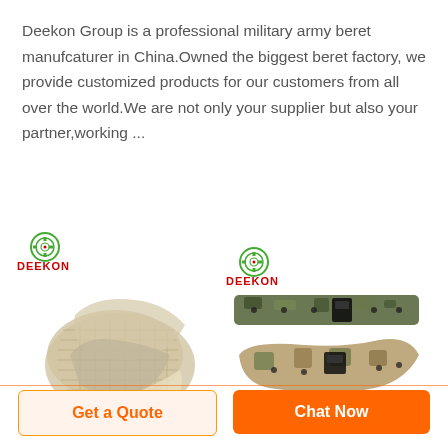Deekon Group is a professional military army beret manufcaturer in China.Owned the biggest beret factory, we provide customized products for our customers from all over the world.We are not only your supplier but also your partner,working ...
[Figure (photo): Deekon branded military camouflage mesh scarf/shawl, showing a net-like fabric draped and folded.]
[Figure (photo): Deekon branded military camouflage tactical belts, showing two belts with buckles in multicam and woodland camo patterns.]
Get a Quote
Chat Now